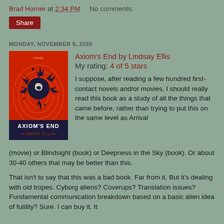Brad Horner at 2:34 PM    No comments:
Share
MONDAY, NOVEMBER 9, 2020
[Figure (photo): Book cover of Axiom's End by Lindsay Ellis — red background with a dark globe exploding with black splatter, text reads AXIOM'S END and LINDSAY ELLIS at bottom]
Axiom's End by Lindsay Ellis
My rating: 4 of 5 stars

I suppose, after reading a few hundred first-contact novels and/or movies, I should really read this book as a study of all the things that came before, rather than trying to put this on the same level as Arrival (movie) or Blindsight (book) or Deepness in the Sky (book). Or about 30-40 others that may be better than this.
That isn't to say that this was a bad book. Far from it. But it's dealing with old tropes. Cyborg aliens? Coverups? Translation issues? Fundamental communication breakdown based on a basic alien idea of futility? Sure. I can buy it. It